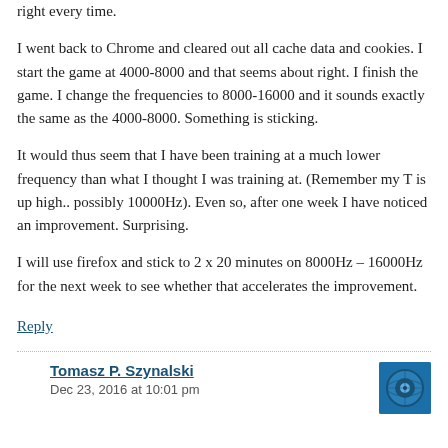right every time.
I went back to Chrome and cleared out all cache data and cookies. I start the game at 4000-8000 and that seems about right. I finish the game. I change the frequencies to 8000-16000 and it sounds exactly the same as the 4000-8000. Something is sticking.
It would thus seem that I have been training at a much lower frequency than what I thought I was training at. (Remember my T is up high.. possibly 10000Hz). Even so, after one week I have noticed an improvement. Surprising.
I will use firefox and stick to 2 x 20 minutes on 8000Hz – 16000Hz for the next week to see whether that accelerates the improvement.
Reply
Tomasz P. Szynalski  Dec 23, 2016 at 10:01 pm